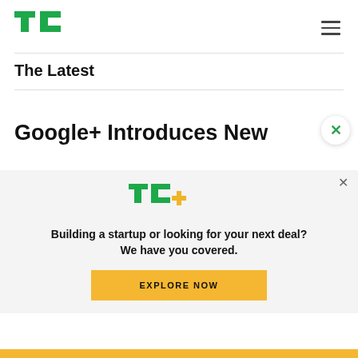TechCrunch logo and navigation menu
The Latest
Google+ Introduces New
[Figure (logo): TC+ logo with green TC letters and yellow plus sign]
Building a startup or looking for your next deal? We have you covered.
EXPLORE NOW